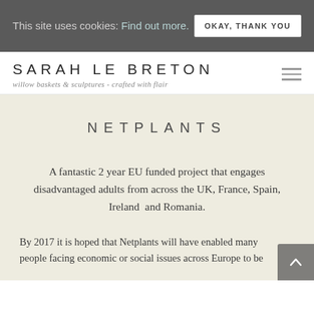This site uses cookies: Find out more.
OKAY, THANK YOU
SARAH LE BRETON
willow baskets & sculptures - crafted with flair
NETPLANTS
A fantastic 2 year EU funded project that engages disadvantaged adults from across the UK, France, Spain, Ireland  and Romania.
By 2017 it is hoped that Netplants will have enabled many people facing economic or social issues across Europe to be